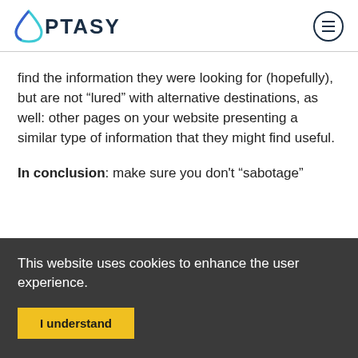OPTASY
find the information they were looking for (hopefully), but are not “lured” with alternative destinations, as well: other pages on your website presenting a similar type of information that they might find useful.
In conclusion: make sure you don’t “sabotage”
This website uses cookies to enhance the user experience.